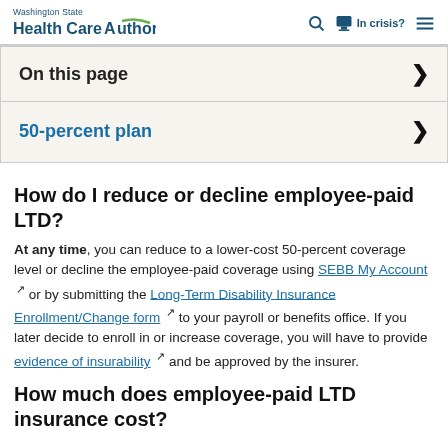Washington State Health Care Authority | Search | In crisis? | Menu
On this page ▶
50-percent plan ▶
How do I reduce or decline employee-paid LTD?
At any time, you can reduce to a lower-cost 50-percent coverage level or decline the employee-paid coverage using SEBB My Account or by submitting the Long-Term Disability Insurance Enrollment/Change form to your payroll or benefits office. If you later decide to enroll in or increase coverage, you will have to provide evidence of insurability and be approved by the insurer.
How much does employee-paid LTD insurance cost?